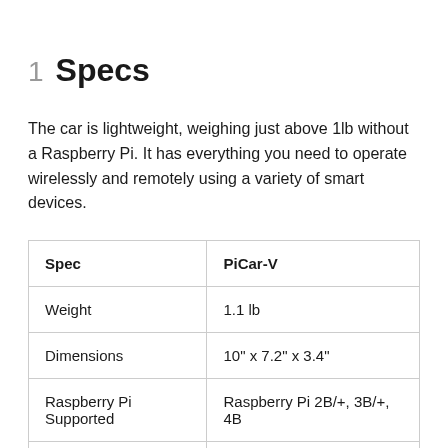1  Specs
The car is lightweight, weighing just above 1lb without a Raspberry Pi. It has everything you need to operate wirelessly and remotely using a variety of smart devices.
| Spec | PiCar-V |
| --- | --- |
| Weight | 1.1 lb |
| Dimensions | 10" x 7.2" x 3.4" |
| Raspberry Pi Supported | Raspberry Pi 2B/+, 3B/+, 4B |
| Camera | 120° Wide-angle USB Camera |